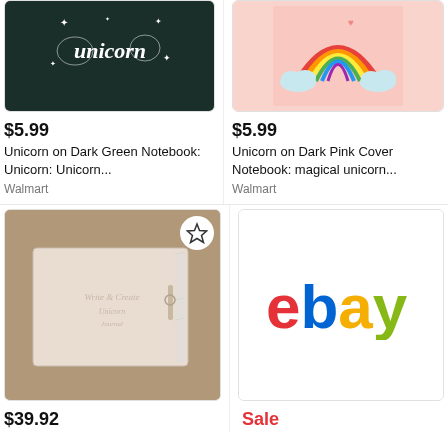[Figure (screenshot): Dark green notebook with white unicorn lettering on cover]
$5.99
Unicorn on Dark Green Notebook: Unicorn: Unicorn...
Walmart
[Figure (screenshot): Pink background with rainbow and clouds illustration]
$5.99
Unicorn on Dark Pink Cover Notebook: magical unicorn...
Walmart
[Figure (screenshot): Beige/cream leather notebook with strap, photo on tan background]
$39.92
[Figure (logo): eBay logo on white background]
Sale